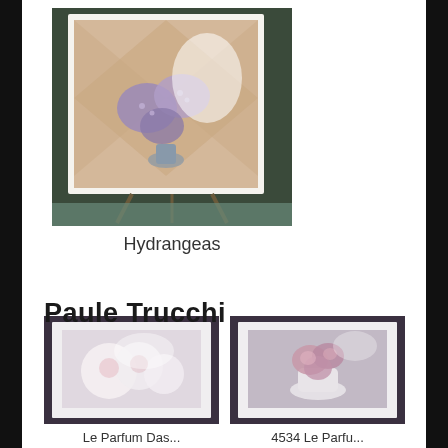[Figure (photo): Framed artwork on an easel showing hydrangea flowers in a vase with a diamond-patterned background, photographed in a room]
Hydrangeas
Paule Trucchi
[Figure (photo): Framed soft-focus artwork showing round white/pink peony-like flowers, with white mat border]
[Figure (photo): Framed soft-focus artwork showing pink/purple flowers in a white vase, with white mat border]
Le Parfum Das...
4534 Le Parfu...